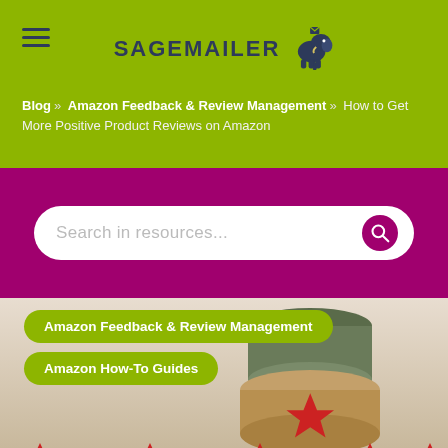SAGEMAILER
Blog » Amazon Feedback & Review Management » How to Get More Positive Product Reviews on Amazon
Search in resources...
Amazon Feedback & Review Management
Amazon How-To Guides
[Figure (photo): A rubber stamp with a red star on a beige/cream background, with red star shapes visible at the bottom of the image]